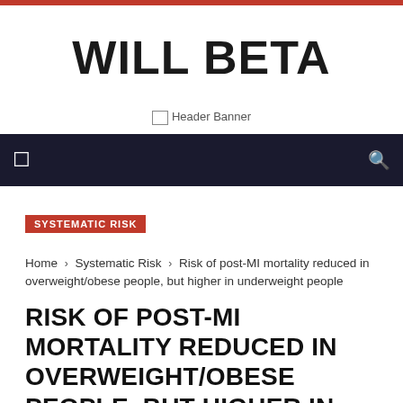WILL BETA
[Figure (other): Header Banner placeholder image]
SYSTEMATIC RISK
Home › Systematic Risk › Risk of post-MI mortality reduced in overweight/obese people, but higher in underweight people
RISK OF POST-MI MORTALITY REDUCED IN OVERWEIGHT/OBESE PEOPLE, BUT HIGHER IN